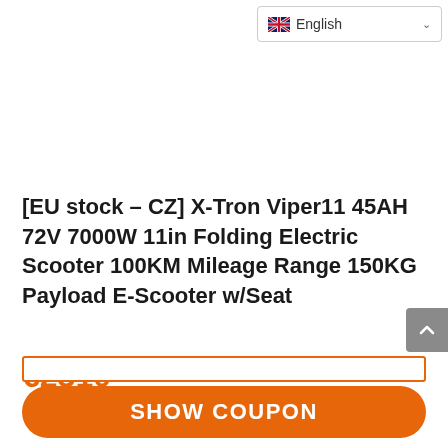English
[EU stock – CZ] X-Tron Viper11 45AH 72V 7000W 11in Folding Electric Scooter 100KM Mileage Range 150KG Payload E-Scooter w/Seat
€2310
SHOW COUPON